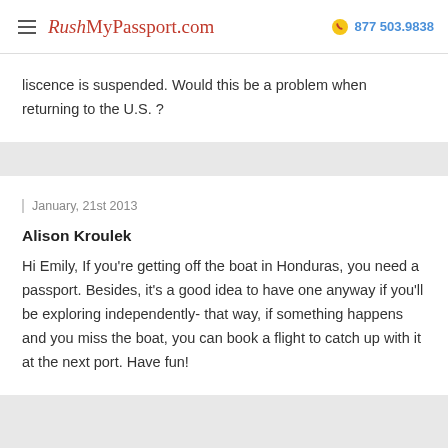RushMyPassport.com  877 503.9838
liscence is suspended. Would this be a problem when returning to the U.S. ?
January, 21st 2013
Alison Kroulek
Hi Emily, If you're getting off the boat in Honduras, you need a passport. Besides, it's a good idea to have one anyway if you'll be exploring independently- that way, if something happens and you miss the boat, you can book a flight to catch up with it at the next port. Have fun!